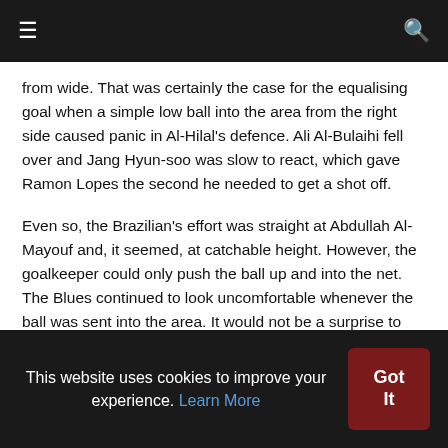≡  🔍
from wide. That was certainly the case for the equalising goal when a simple low ball into the area from the right side caused panic in Al-Hilal's defence. Ali Al-Bulaihi fell over and Jang Hyun-soo was slow to react, which gave Ramon Lopes the second he needed to get a shot off.
Even so, the Brazilian's effort was straight at Abdullah Al-Mayouf and, it seemed, at catchable height. However, the goalkeeper could only push the ball up and into the net. The Blues continued to look uncomfortable whenever the ball was sent into the area. It would not be a surprise to see Al-Ittihad doing something similar on Monday.
This website uses cookies to improve your experience. Learn More  Got It